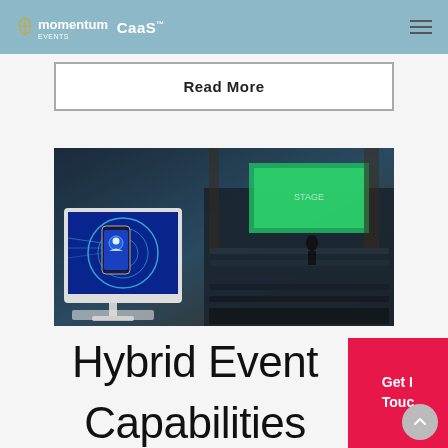momentum events CaaS
Read More
[Figure (photo): A hybrid event setup showing a computer monitor with a hand holding a smartphone displaying a digital avatar/profile icon with glowing technology graphics, overlaid on a conference hall audience scene with a speaker on stage and large green presentation screen in the background.]
Hybrid Event Capabilities